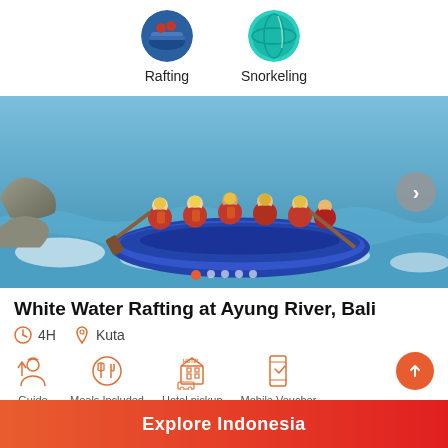[Figure (screenshot): Top navigation bar showing two circular activity icons: Rafting (rafting scene) and Snorkeling (teal globe icon) with labels below each]
[Figure (photo): Hero image of a group of people in red life vests and helmets white water rafting in a blue inflatable raft on turbulent rapids]
White Water Rafting at Ayung River, Bali
4H    Kuta
[Figure (infographic): Four orange icons with labels below: Guide, Meals Included, Hotel pickup, Mobile Voucher]
Activity Location: Ayung River RaftingDuration: 5 hoursActivity Timings: 9 AM to 5 PMlast Admission: 3
Explore Indonesia